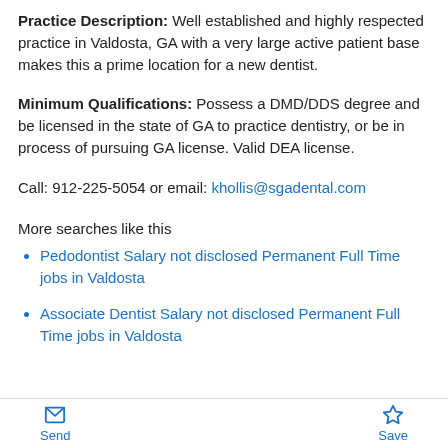Practice Description: Well established and highly respected practice in Valdosta, GA with a very large active patient base makes this a prime location for a new dentist.
Minimum Qualifications: Possess a DMD/DDS degree and be licensed in the state of GA to practice dentistry, or be in process of pursuing GA license. Valid DEA license.
Call: 912-225-5054 or email: khollis@sgadental.com
More searches like this
Pedodontist Salary not disclosed Permanent Full Time jobs in Valdosta
Associate Dentist Salary not disclosed Permanent Full Time jobs in Valdosta
Send  Save